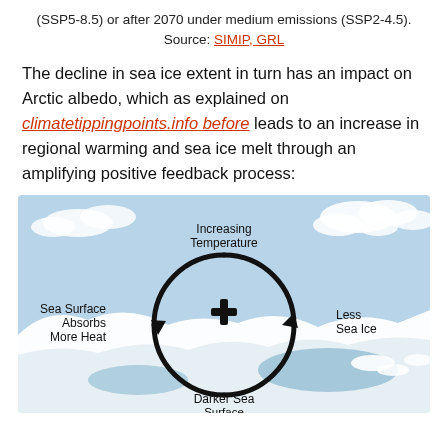(SSP5-8.5) or after 2070 under medium emissions (SSP2-4.5). Source: SIMIP, GRL
The decline in sea ice extent in turn has an impact on Arctic albedo, which as explained on climatetippingpoints.info before leads to an increase in regional warming and sea ice melt through an amplifying positive feedback process:
[Figure (infographic): Circular feedback diagram showing amplifying positive feedback process for Arctic sea ice melt. A circular arrow loop with labels: Increasing Temperature (top), Less Sea Ice (right), Darker Sea Surface (bottom), Sea Surface Absorbs More Heat (left). A plus sign in the center indicates positive feedback. Background shows Arctic landscape with ice and water.]